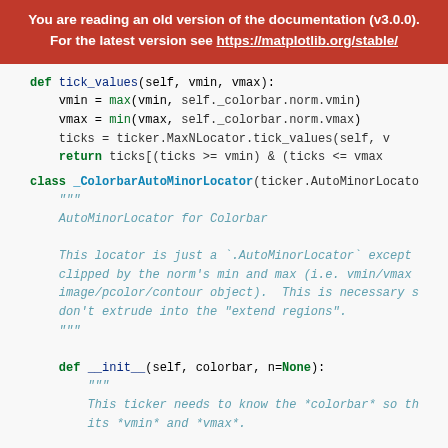You are reading an old version of the documentation (v3.0.0). For the latest version see https://matplotlib.org/stable/
def tick_values(self, vmin, vmax):
    vmin = max(vmin, self._colorbar.norm.vmin)
    vmax = min(vmax, self._colorbar.norm.vmax)
    ticks = ticker.MaxNLocator.tick_values(self, v
    return ticks[(ticks >= vmin) & (ticks <= vmax
class _ColorbarAutoMinorLocator(ticker.AutoMinorLocato
    """
    AutoMinorLocator for Colorbar

    This locator is just a `.AutoMinorLocator` except
    clipped by the norm's min and max (i.e. vmin/vmax
    image/pcolor/contour object).  This is necessary s
    don't extrude into the "extend regions".
    """

    def __init__(self, colorbar, n=None):
        """
        This ticker needs to know the *colorbar* so th
        its *vmin* and *vmax*.